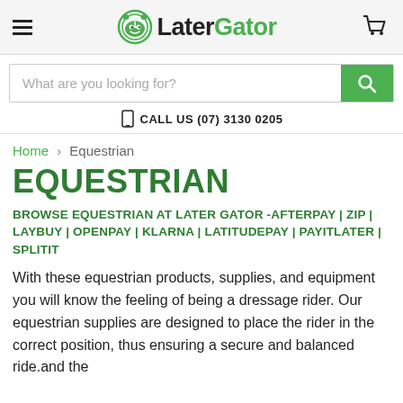LaterGator
What are you looking for?
CALL US (07) 3130 0205
Home > Equestrian
EQUESTRIAN
BROWSE EQUESTRIAN AT LATER GATOR -AFTERPAY | ZIP | LAYBUY | OPENPAY | KLARNA | LATITUDEPAY | PAYITLATER | SPLITIT
With these equestrian products, supplies, and equipment you will know the feeling of being a dressage rider. Our equestrian supplies are designed to place the rider in the correct position, thus ensuring a secure and balanced ride.and the